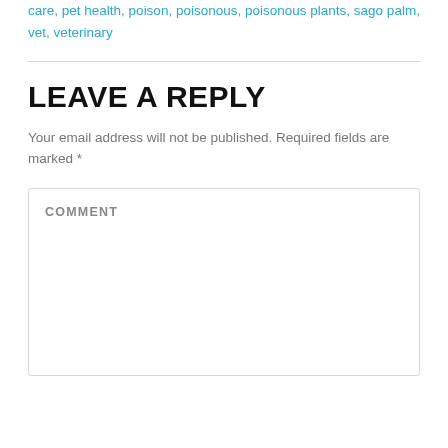care, pet health, poison, poisonous, poisonous plants, sago palm, vet, veterinary
LEAVE A REPLY
Your email address will not be published. Required fields are marked *
COMMENT